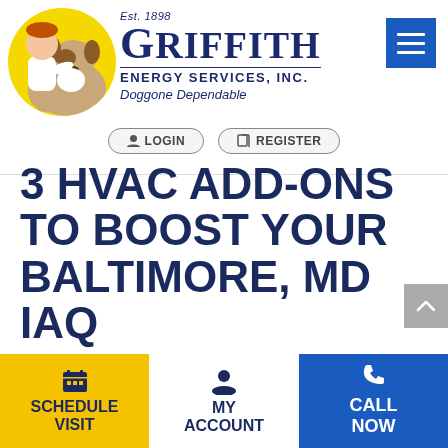[Figure (logo): Griffith Energy Services Inc. logo with a girl hugging a Saint Bernard dog on a yellow circle background. Text reads 'Est. 1898', 'GRIFFITH', 'ENERGY SERVICES, INC.', 'Doggone Dependable']
LOGIN
REGISTER
3 HVAC ADD-ONS TO BOOST YOUR BALTIMORE, MD IAQ
SCHEDULE VISIT
MY ACCOUNT
CALL NOW